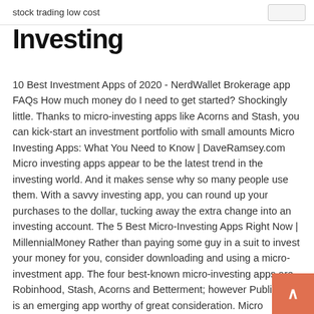stock trading low cost
Investing
10 Best Investment Apps of 2020 - NerdWallet Brokerage app FAQs How much money do I need to get started? Shockingly little. Thanks to micro-investing apps like Acorns and Stash, you can kick-start an investment portfolio with small amounts Micro Investing Apps: What You Need to Know | DaveRamsey.com Micro investing apps appear to be the latest trend in the investing world. And it makes sense why so many people use them. With a savvy investing app, you can round up your purchases to the dollar, tucking away the extra change into an investing account. The 5 Best Micro-Investing Apps Right Now | MillennialMoney Rather than paying some guy in a suit to invest your money for you, consider downloading and using a micro-investment app. The four best-known micro-investing apps are Robinhood, Stash, Acorns and Betterment; however Public.com is an emerging app worthy of great consideration. Micro Investing Apps: The Best Platform For 2020 - The ...